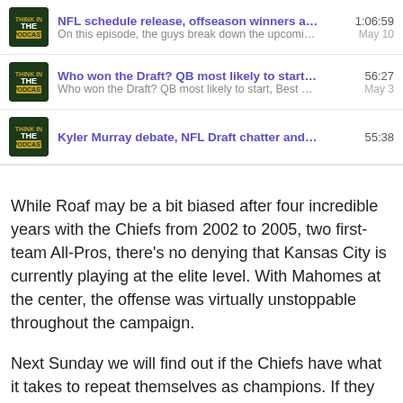NFL schedule release, offseason winners and lose... 1:06:59 On this episode, the guys break down the upcoming ... May 10
Who won the Draft? QB most likely to start, Best Pic... 56:27 Who won the Draft? QB most likely to start, Best Picks May 3
Kyler Murray debate, NFL Draft chatter and a pros... 55:38
While Roaf may be a bit biased after four incredible years with the Chiefs from 2002 to 2005, two first-team All-Pros, there’s no denying that Kansas City is currently playing at the elite level. With Mahomes at the center, the offense was virtually unstoppable throughout the campaign.
Next Sunday we will find out if the Chiefs have what it takes to repeat themselves as champions. If they do, Roaf could very well double his American team’s comments.